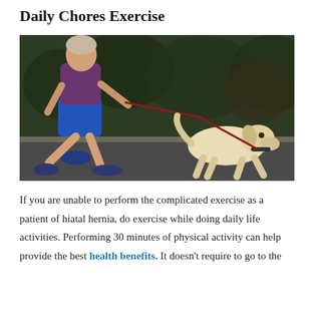Daily Chores Exercise
[Figure (photo): Person in blue shorts and purple shirt jogging while walking a yellow Labrador dog on a red leash along a road with green hedge in the background.]
If you are unable to perform the complicated exercise as a patient of hiatal hernia, do exercise while doing daily life activities. Performing 30 minutes of physical activity can help provide the best health benefits. It doesn’t require to go to the